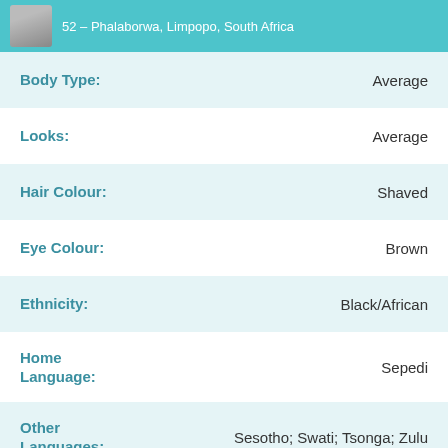52 – Phalaborwa, Limpopo, South Africa
Body Type: Average
Looks: Average
Hair Colour: Shaved
Eye Colour: Brown
Ethnicity: Black/African
Home Language: Sepedi
Other Languages: Sesotho; Swati; Tsonga; Zulu
Religion: Ask me later